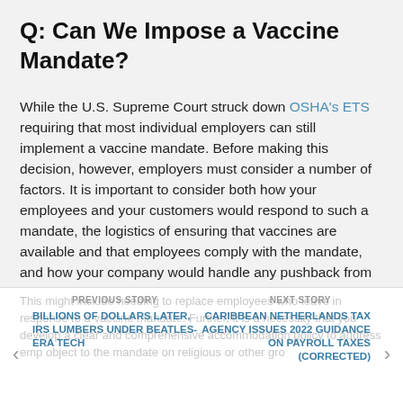Q: Can We Impose a Vaccine Mandate?
While the U.S. Supreme Court struck down OSHA's ETS requiring that most individual employers can still implement a vaccine mandate. Before making this decision, however, employers must consider a number of factors. It is important to consider both how your employees and your customers would respond to such a mandate, the logistics of ensuring that vaccines are available and that employees comply with the mandate, and how your company would handle any pushback from employees.
PREVIOUS STORY | BILLIONS OF DOLLARS LATER, IRS LUMBERS UNDER BEATLES-ERA TECH | NEXT STORY | CARIBBEAN NETHERLANDS TAX AGENCY ISSUES 2022 GUIDANCE ON PAYROLL TAXES (CORRECTED)